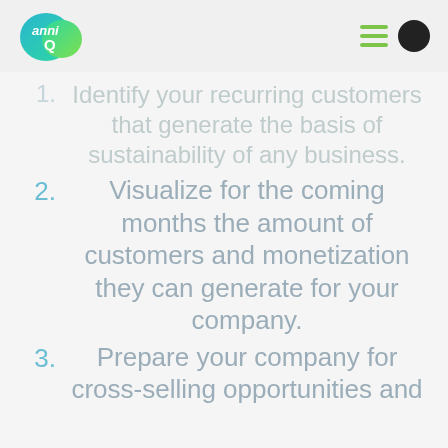[Figure (logo): AnniQ logo - colorful blob shape with 'anni' and 'Q' text in white]
1. Identify your recurring customers that generate the basis of sustainability of any business.
2. Visualize for the coming months the amount of customers and monetization they can generate for your company.
3. Prepare your company for cross-selling opportunities and